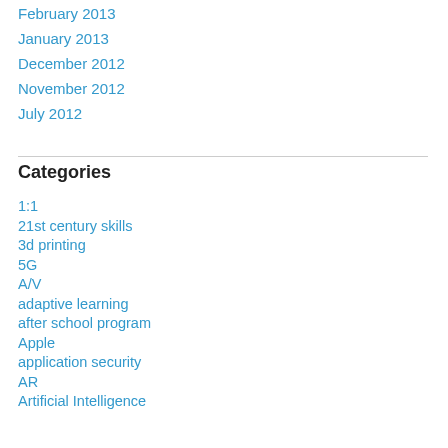February 2013
January 2013
December 2012
November 2012
July 2012
Categories
1:1
21st century skills
3d printing
5G
A/V
adaptive learning
after school program
Apple
application security
AR
Artificial Intelligence